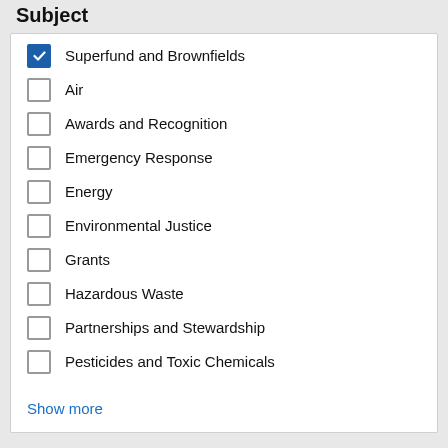Subject
Superfund and Brownfields
Air
Awards and Recognition
Emergency Response
Energy
Environmental Justice
Grants
Hazardous Waste
Partnerships and Stewardship
Pesticides and Toxic Chemicals
Show more